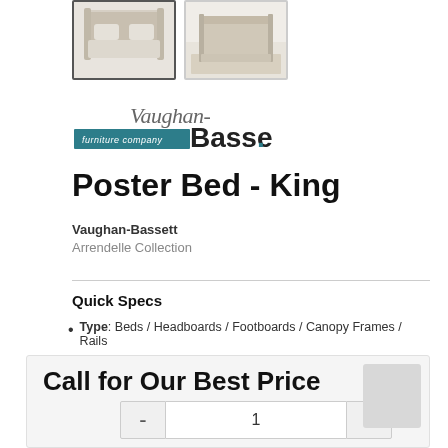[Figure (photo): Two thumbnail images of a poster bed: first thumbnail (active/selected) shows a closer view of a cream/antique white poster bed with ornate headboard; second thumbnail shows a wider room view of the same bed]
[Figure (logo): Vaughan-Bassett Furniture Company logo with italic 'Vaughan-' text above, 'furniture company' in teal banner, and bold 'Bassett.' text]
Poster Bed - King
Vaughan-Bassett
Arrendelle Collection
Quick Specs
Type: Beds / Headboards / Footboards / Canopy Frames / Rails
Call for Our Best Price